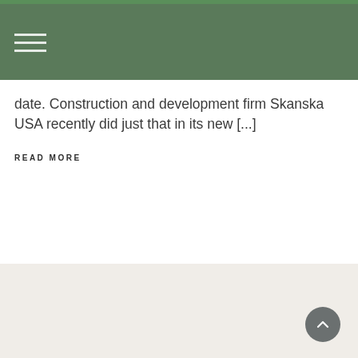Navigation menu (hamburger icon)
date. Construction and development firm Skanska USA recently did just that in its new [...]
READ MORE
Footer area with scroll-to-top button